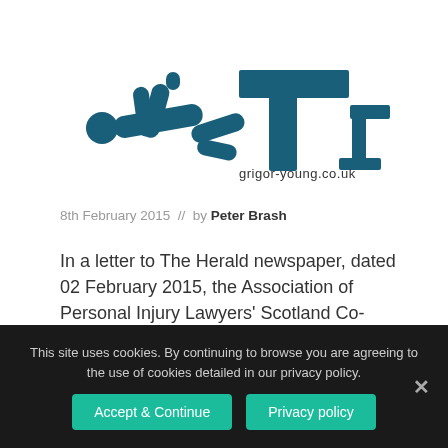[Figure (logo): Grigor-Young solicitors logo: stylized person figure and T-shape mark with text grigor-young.co.uk]
8th February 2015  //  by Peter Brash
In a letter to The Herald newspaper, dated 02 February 2015, the Association of Personal Injury Lawyers' Scotland Co-ordinator, Ronnie Conway, has questioned the Law
This site uses cookies. By continuing to browse you are agreeing to the use of cookies detailed in our privacy policy.